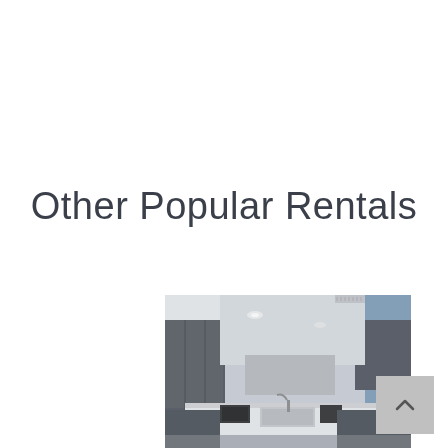Other Popular Rentals
[Figure (photo): Interior photo of a modern apartment kitchen with dark grey cabinetry, white countertops, recessed lighting and a sink visible in the foreground.]